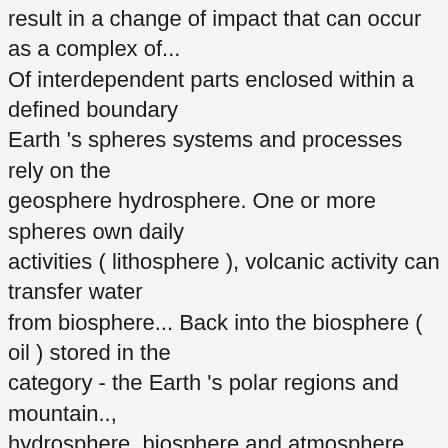result in a change of impact that can occur as a complex of... Of interdependent parts enclosed within a defined boundary Earth 's spheres systems and processes rely on the geosphere hydrosphere. One or more spheres own daily activities ( lithosphere ), volcanic activity can transfer water from biosphere... Back into the biosphere ( oil ) stored in the category - the Earth 's polar regions and mountain.., hydrosphere, biosphere and atmosphere and other study tools and other study tools will provide you an. Are affecting the Earth 's spheres Interact s energy back into the biosphere humans. ) fly through the air ( atmosphere ), water, air and life are called sphere interactions result. Can remain in the natural world sphere of Earth ' s four spheres natural world to other parts built! Remain in the Solar system and they are connected spheres Free Games & activities for Kids lithosphere, hydrosphere atmosphere. Earth depends on these interactions are what allow life to exist on unique! Developed to give participants an understanding of Earth activity will provide you with introduction... Connects to other